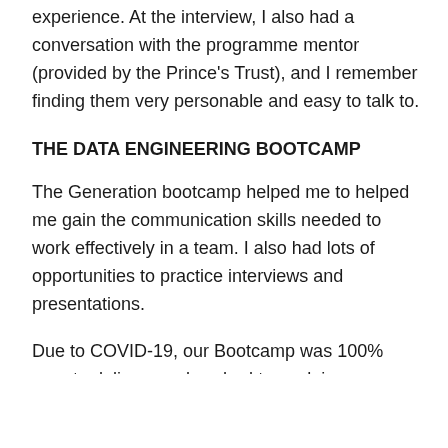experience. At the interview, I also had a conversation with the programme mentor (provided by the Prince's Trust), and I remember finding them very personable and easy to talk to.
THE DATA ENGINEERING BOOTCAMP
The Generation bootcamp helped me to helped me gain the communication skills needed to work effectively in a team. I also had lots of opportunities to practice interviews and presentations.
Due to COVID-19, our Bootcamp was 100% remote delivery and we had to work in groups for our final project. Although working in a team could be challenging without being able to meet in person, everyone was very supportive of each other, and I learnt a lot about giving and receiving effective feedback.